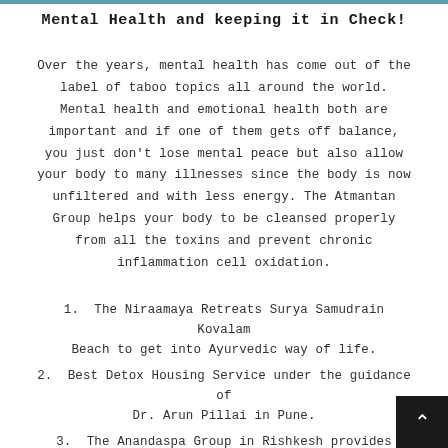Mental Health and keeping it in Check!
Over the years, mental health has come out of the label of taboo topics all around the world. Mental health and emotional health both are important and if one of them gets off balance, you just don't lose mental peace but also allow your body to many illnesses since the body is now unfiltered and with less energy. The Atmantan Group helps your body to be cleansed properly from all the toxins and prevent chronic inflammation cell oxidation.
1.  The Niraamaya Retreats Surya Samudrain Kovalam Beach to get into Ayurvedic way of life.
2.  Best Detox Housing Service under the guidance of Dr. Arun Pillai in Pune.
3.  The Anandaspa Group in Rishkesh provides Ganga Arti and tranquility of the hills.